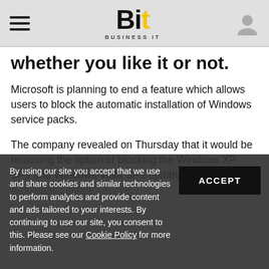Bit — Business IT
whether you like it or not.
Microsoft is planning to end a feature which allows users to block the automatic installation of Windows service packs.
The company revealed on Thursday that it would be removing the option of blocking the Windows XP SP3 and Windows Vista SP1 updates from the Automatic Update service.
By using our site you accept that we use and share cookies and similar technologies to perform analytics and provide content and ads tailored to your interests. By continuing to use our site, you consent to this. Please see our Cookie Policy for more information.